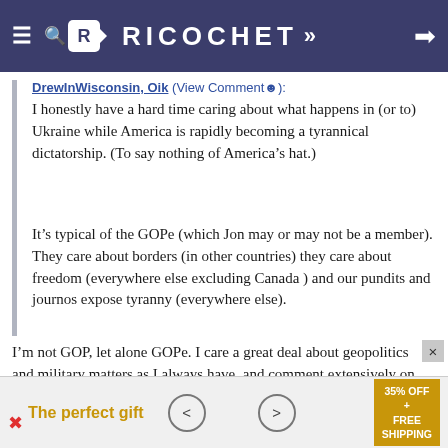RICOCHET
DrewInWisconsin, Oik (View Comment☺): I honestly have a hard time caring about what happens in (or to) Ukraine while America is rapidly becoming a tyrannical dictatorship. (To say nothing of America's hat.)
It's typical of the GOPe (which Jon may or may not be a member). They care about borders (in other countries) they care about freedom (everywhere else excluding Canada ) and our pundits and journos expose tyranny (everywhere else).
I'm not GOP, let alone GOPe. I care a great deal about geopolitics and military matters as I always have, and comment extensively on Russia, Ukraine, and the authoritarianism in Canada. And living in Arizona, I
The perfect gift   35% OFF + FREE SHIPPING